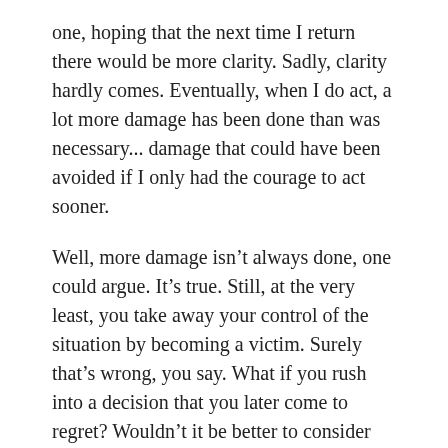one, hoping that the next time I return there would be more clarity. Sadly, clarity hardly comes. Eventually, when I do act, a lot more damage has been done than was necessary... damage that could have been avoided if I only had the courage to act sooner.
Well, more damage isn’t always done, one could argue. It’s true. Still, at the very least, you take away your control of the situation by becoming a victim. Surely that’s wrong, you say. What if you rush into a decision that you later come to regret? Wouldn’t it be better to consider things fully before you do something stupid? Once again, that’s correct. However, for most people, the consideration goes on for way longer than it should. If there is something else that should happen first, then that’s fine; but this is not the case either, for most people. It’s just that they don’t want to do what is necessary.
Making decisions is a key activity in taking control of your life